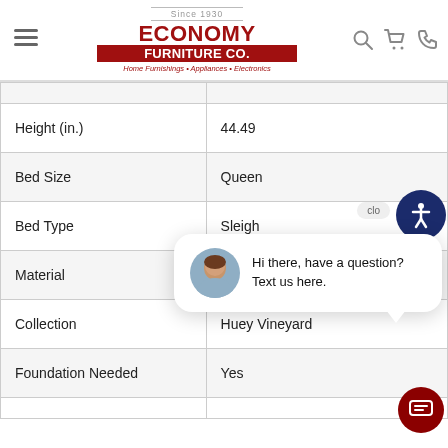[Figure (logo): Economy Furniture Co. logo with red text, 'Since 1930' banner, and tagline 'Home Furnishings • Appliances • Electronics']
| Attribute | Value |
| --- | --- |
|  |  |
| Height (in.) | 44.49 |
| Bed Size | Queen |
| Bed Type | Sleigh |
| Material |  |
| Collection | Huey Vineyard |
| Foundation Needed | Yes |
|  |  |